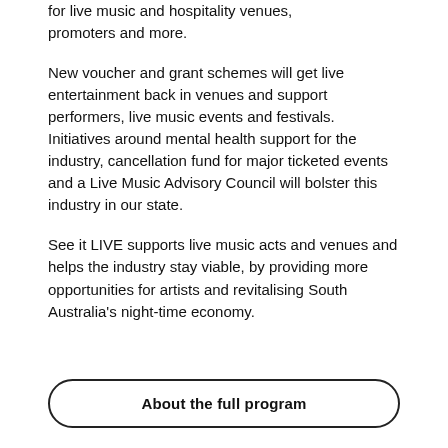for live music and hospitality venues, promoters and more.
New voucher and grant schemes will get live entertainment back in venues and support performers, live music events and festivals. Initiatives around mental health support for the industry, cancellation fund for major ticketed events and a Live Music Advisory Council will bolster this industry in our state.
See it LIVE supports live music acts and venues and helps the industry stay viable, by providing more opportunities for artists and revitalising South Australia's night-time economy.
About the full program